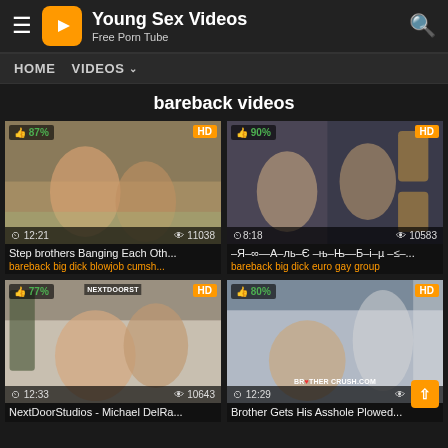Young Sex Videos — Free Porn Tube
HOME  VIDEOS
bareback videos
[Figure (screenshot): Video thumbnail 1 - outdoor pool scene, 87% rating, 12:21 duration, 11038 views, HD badge]
Step brothers Banging Each Oth...
bareback big dick blowjob cumsh...
[Figure (screenshot): Video thumbnail 2 - hotel room scene, 90% rating, 8:18 duration, 10583 views, HD badge]
–Я–∞—А–ль–Є –њ–Њ—Б–і–µ –≤-...
bareback big dick euro gay group
[Figure (screenshot): Video thumbnail 3 - sofa scene with NextDoorStudios watermark, 77% rating, 12:33 duration, 10643 views, HD badge]
NextDoorStudios - Michael DelRa...
[Figure (screenshot): Video thumbnail 4 - bedroom scene with BrotherCrush watermark, 80% rating, 12:29 duration, HD badge]
Brother Gets His Asshole Plowed...